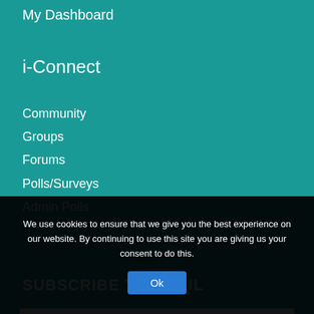My Dashboard
i-Connect
Community
Groups
Forums
Polls/Surveys
Admin Polls
SUBSCRIBE TO EMAIL
Email
We use cookies to ensure that we give you the best experience on our website. By continuing to use this site you are giving us your consent to do this.